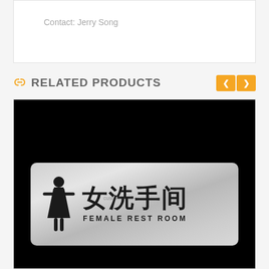Contact: Jerry Song
RELATED PRODUCTS
[Figure (photo): A brushed aluminum sign plate with black female restroom icon, Chinese characters '女洗手间' and text 'FEMALE REST ROOM' on a black background. Watermark 'custom-door-...' visible.]